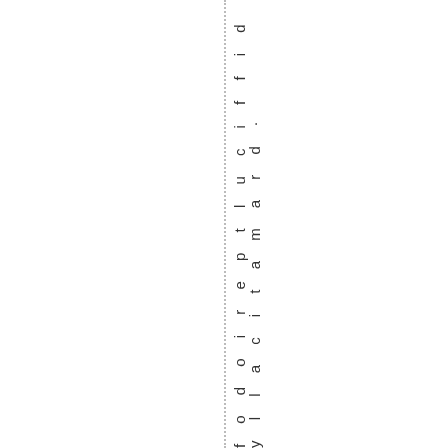a dramatically difficult period of